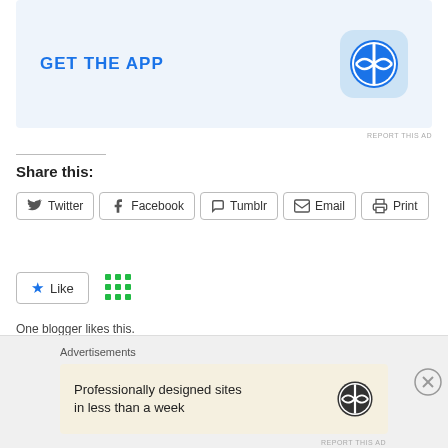[Figure (screenshot): WordPress app advertisement banner with GET THE APP text and WordPress logo icon on light blue background]
REPORT THIS AD
Share this:
Twitter  Facebook  Tumblr  Email  Print
Like  [grid icon]
One blogger likes this.
Advertisements
[Figure (screenshot): WordPress advertisement: Professionally designed sites in less than a week, with WordPress logo]